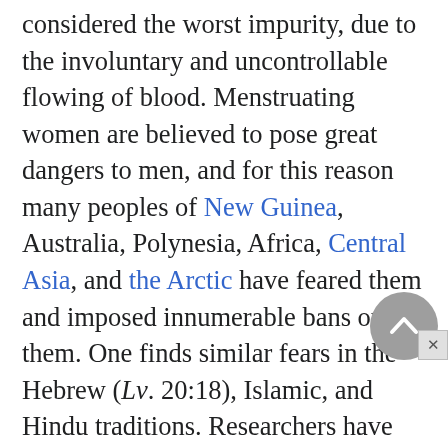considered the worst impurity, due to the involuntary and uncontrollable flowing of blood. Menstruating women are believed to pose great dangers to men, and for this reason many peoples of New Guinea, Australia, Polynesia, Africa, Central Asia, and the Arctic have feared them and imposed innumerable bans on them. One finds similar fears in the Hebrew (Lv. 20:18), Islamic, and Hindu traditions. Researchers have not yet properly emphasized the implications